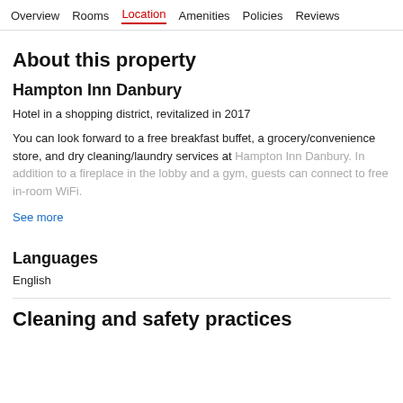Overview  Rooms  Location  Amenities  Policies  Reviews
About this property
Hampton Inn Danbury
Hotel in a shopping district, revitalized in 2017
You can look forward to a free breakfast buffet, a grocery/convenience store, and dry cleaning/laundry services at Hampton Inn Danbury. In addition to a fireplace in the lobby and a gym, guests can connect to free in-room WiFi.
See more
Languages
English
Cleaning and safety practices